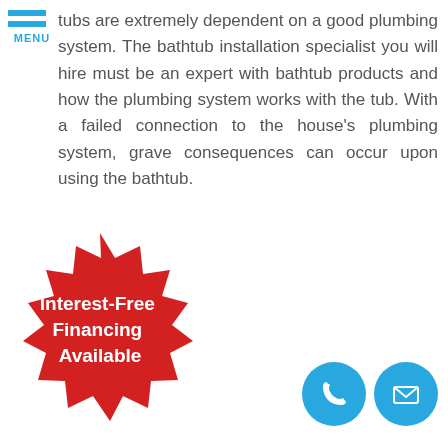[Figure (logo): Hamburger menu icon with two horizontal blue bars and MENU text in blue below]
tubs are extremely dependent on a good plumbing system. The bathtub installation specialist you will hire must be an expert with bathtub products and how the plumbing system works with the tub. With a failed connection to the house's plumbing system, grave consequences can occur upon using the bathtub.
[Figure (infographic): Red starburst badge with white bold text reading Interest-Free Financing Available]
[Figure (infographic): Two circular blue contact icons: a phone handset icon and an envelope/mail icon]